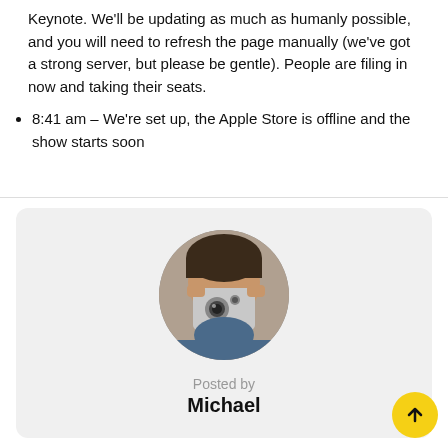Keynote. We'll be updating as much as humanly possible, and you will need to refresh the page manually (we've got a strong server, but please be gentle). People are filing in now and taking their seats.
8:41 am – We're set up, the Apple Store is offline and the show starts soon
[Figure (photo): Circular avatar photo of a man holding a compact digital camera up to his face, photographing himself in a mirror.]
Posted by
Michael